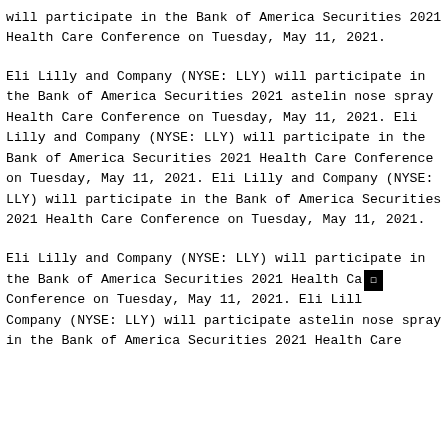will participate in the Bank of America Securities 2021 Health Care Conference on Tuesday, May 11, 2021.
Eli Lilly and Company (NYSE: LLY) will participate in the Bank of America Securities 2021 astelin nose spray Health Care Conference on Tuesday, May 11, 2021. Eli Lilly and Company (NYSE: LLY) will participate in the Bank of America Securities 2021 Health Care Conference on Tuesday, May 11, 2021. Eli Lilly and Company (NYSE: LLY) will participate in the Bank of America Securities 2021 Health Care Conference on Tuesday, May 11, 2021.
Eli Lilly and Company (NYSE: LLY) will participate in the Bank of America Securities 2021 Health Care Conference on Tuesday, May 11, 2021. Eli Lilly and Company (NYSE: LLY) will participate astelin nose spray in the Bank of America Securities 2021 Health Care